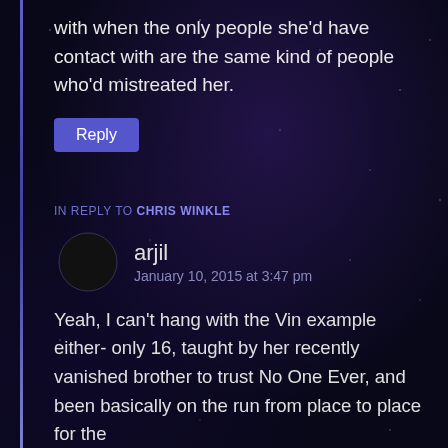with when the only people she'd have contact with are the same kind of people who'd mistreated her.
Reply
IN REPLY TO CHRIS WINKLE
arjil
January 10, 2015 at 3:47 pm
Yeah, I can't hang with the Vin example either- only 16, taught by her recently vanished brother to trust No One Ever, and been basically on the run from place to place for the